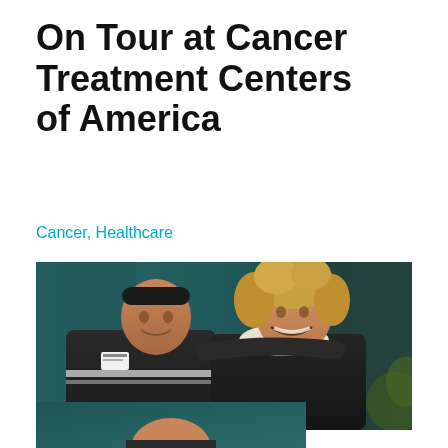On Tour at Cancer Treatment Centers of America
Cancer, Healthcare
[Figure (photo): Two people smiling outdoors in front of a teal/dark green background. A man on the left wearing a dark jacket with reflective strips and a headband, has his arm around a woman on the right with curly blonde hair wearing a dark leather jacket with white fur collar. Both are smiling broadly.]
[Figure (photo): Partial view of a second outdoor photo showing a person from shoulders up against a teal background, cropped at bottom of page.]